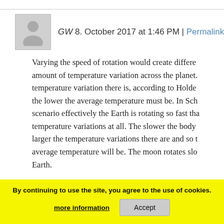GW 8. October 2017 at 1:46 PM | Permalink
Varying the speed of rotation would create different amount of temperature variation across the planet. temperature variation there is, according to Holder the lower the average temperature must be. In Sc scenario effectively the Earth is rotating so fast tha temperature variations at all. The slower the body larger the temperature variations there are and so average temperature will be. The moon rotates slo Earth.
OK, so with all of this said, even IF Nikolov and Z concede the point you've just raised about their fi acknowledge that their 90 K estimate for the Eart overestimate the "true" surface temperature valu whatever the "true" effect of the Earth's rotation s
By continuing to use the site, you agree to the use of cookies.
more information
Accept